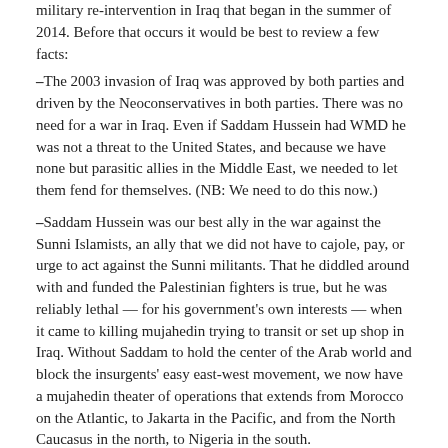military re-intervention in Iraq that began in the summer of 2014. Before that occurs it would be best to review a few facts:
–The 2003 invasion of Iraq was approved by both parties and driven by the Neoconservatives in both parties. There was no need for a war in Iraq. Even if Saddam Hussein had WMD he was not a threat to the United States, and because we have none but parasitic allies in the Middle East, we needed to let them fend for themselves. (NB: We need to do this now.)
–Saddam Hussein was our best ally in the war against the Sunni Islamists, an ally that we did not have to cajole, pay, or urge to act against the Sunni militants. That he diddled around with and funded the Palestinian fighters is true, but he was reliably lethal — for his government's own interests — when it came to killing mujahedin trying to transit or set up shop in Iraq. Without Saddam to hold the center of the Arab world and block the insurgents' easy east-west movement, we now have a mujahedin theater of operations that extends from Morocco on the Atlantic, to Jakarta in the Pacific, and from the North Caucasus in the north, to Nigeria in the south.
read on...
Written by Michael Scheuer
Soros Seeks to Expand War in Ukraine...Why?
wednesday june 3, 2015
Hacked emails show billionaire George Soros is fighting to save the US-backed president of Ukraine. He promised President Poroshenko to call up US Treasury Secretary Jack Lew and ask for some more money for